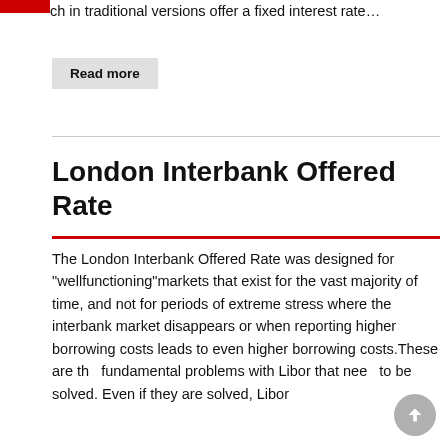ch in traditional versions offer a fixed interest rate…
Read more
London Interbank Offered Rate
The London Interbank Offered Rate was designed for "wellfunctioning"markets that exist for the vast majority of time, and not for periods of extreme stress where the interbank market disappears or when reporting higher borrowing costs leads to even higher borrowing costs.These are the fundamental problems with Libor that need to be solved. Even if they are solved, Libor